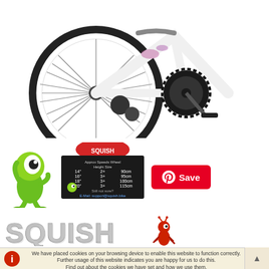[Figure (photo): Close-up product photo of a white children's bicycle (Squish brand) showing the rear wheel, drivetrain with chainring and derailleur, pedal, and front wheel against a white background.]
[Figure (photo): Green alien mascot character standing upright with one hand raised.]
[Figure (photo): Squish brand info board/chalkboard showing size guide with a green alien mascot figure pointing at it, splash logo at top.]
[Figure (logo): Pinterest 'Save' button with red background, Pinterest logo icon on left and 'Save' text.]
[Figure (logo): SQUISH brand logo in large grey 3D-effect lettering with a red ant mascot character to the right.]
We have placed cookies on your browsing device to enable this website to function correctly.
Further usage of this website indicates you are happy for us to do this.
Find out about the cookies we have set and how we use them.